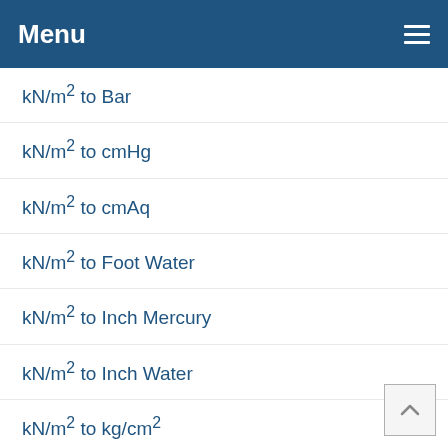Menu
kN/m² to Bar
kN/m² to cmHg
kN/m² to cmAq
kN/m² to Foot Water
kN/m² to Inch Mercury
kN/m² to Inch Water
kN/m² to kg/cm²
kN/m² to Kilopascal
kN/m² to Megapascal